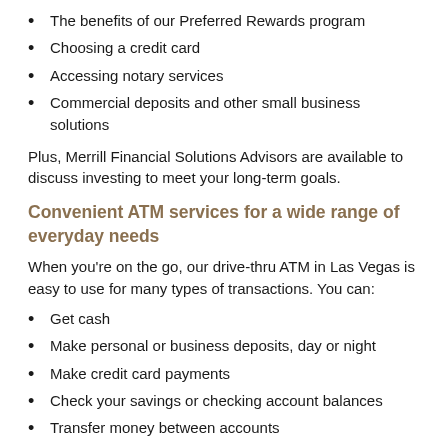The benefits of our Preferred Rewards program
Choosing a credit card
Accessing notary services
Commercial deposits and other small business solutions
Plus, Merrill Financial Solutions Advisors are available to discuss investing to meet your long-term goals.
Convenient ATM services for a wide range of everyday needs
When you're on the go, our drive-thru ATM in Las Vegas is easy to use for many types of transactions. You can:
Get cash
Make personal or business deposits, day or night
Make credit card payments
Check your savings or checking account balances
Transfer money between accounts
Change your ATM or debit card PIN
You can also use a tap-to-pay card or a smartphone to make